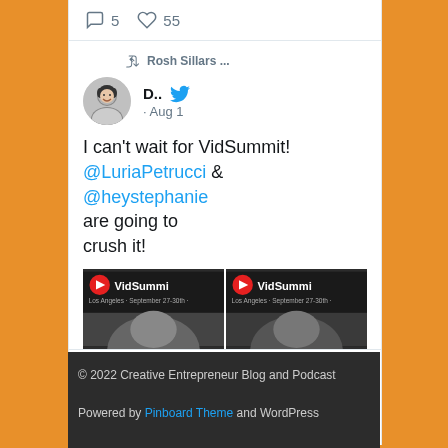5  55
Rosh Sillars ...
D.. · Aug 1
I can't wait for VidSummit! @LuriaPetrucci & @heystephanie are going to crush it!
[Figure (screenshot): Two VidSummit promotional banner images side by side]
© 2022 Creative Entrepreneur Blog and Podcast
Powered by Pinboard Theme and WordPress